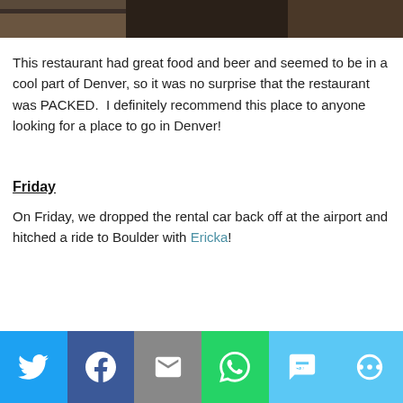[Figure (photo): Cropped top portion of a restaurant photo, dark/moody interior]
This restaurant had great food and beer and seemed to be in a cool part of Denver, so it was no surprise that the restaurant was PACKED.  I definitely recommend this place to anyone looking for a place to go in Denver!
Friday
On Friday, we dropped the rental car back off at the airport and hitched a ride to Boulder with Ericka!
[Figure (infographic): Social share bar with Twitter, Facebook, Email, WhatsApp, SMS, and More buttons]